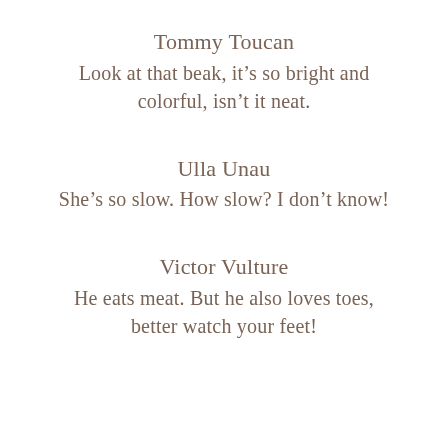Tommy Toucan
Look at that beak, it’s so bright and colorful, isn’t it neat.
Ulla Unau
She’s so slow. How slow? I don’t know!
Victor Vulture
He eats meat. But he also loves toes, better watch your feet!